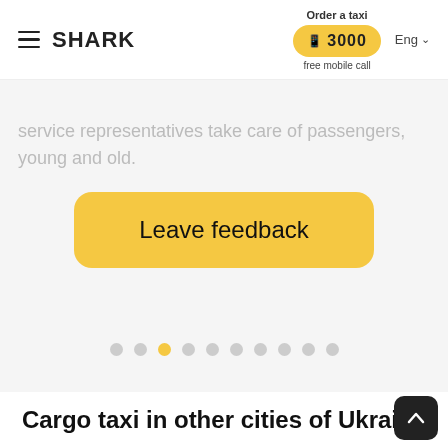SHARK — Order a taxi — ☎ 3000 — free mobile call — Eng
service representatives take care of passengers, young and old.
[Figure (screenshot): Leave feedback button — a large rounded yellow button with the text 'Leave feedback']
[Figure (other): Carousel pagination dots — 10 dots, the third one highlighted in yellow]
Cargo taxi in other cities of Ukraine